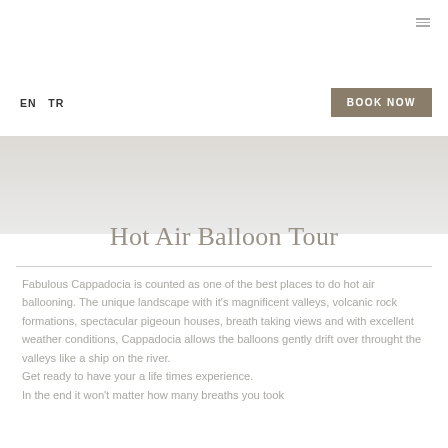EN  TR
BOOK NOW
[Figure (photo): Hero image area for Hot Air Balloon Tour — light grey gradient placeholder]
Hot Air Balloon Tour
Fabulous Cappadocia is counted as one of the best places to do hot air ballooning. The unique landscape with it's magnificent valleys, volcanic rock formations, spectacular pigeoun houses, breath taking views and with excellent weather conditions, Cappadocia allows the balloons gently drift over throught the valleys like a ship on the river.
Get ready to have your a life times experience.
In the end it won't matter how many breaths you took